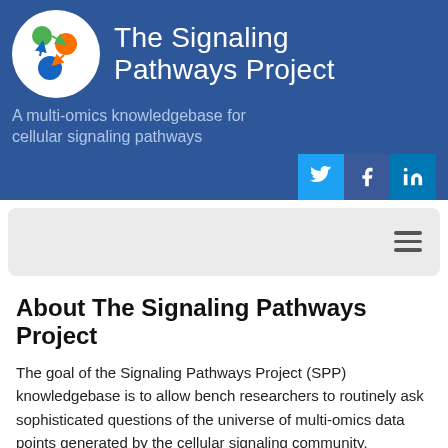[Figure (logo): The Signaling Pathways Project logo: white circle with green, orange, and blue nodes connected by arrows forming a network diagram]
The Signaling Pathways Project
A multi-omics knowledgebase for cellular signaling pathways
[Figure (screenshot): Social media icons: Twitter (light blue), Facebook (dark blue), LinkedIn (dark blue)]
[Figure (screenshot): Navigation bar with hamburger menu icon (three horizontal lines)]
About The Signaling Pathways Project
The goal of the Signaling Pathways Project (SPP) knowledgebase is to allow bench researchers to routinely ask sophisticated questions of the universe of multi-omics data points generated by the cellular signaling community.